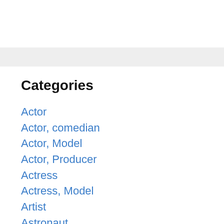Categories
Actor
Actor, comedian
Actor, Model
Actor, Producer
Actress
Actress, Model
Artist
Astronaut